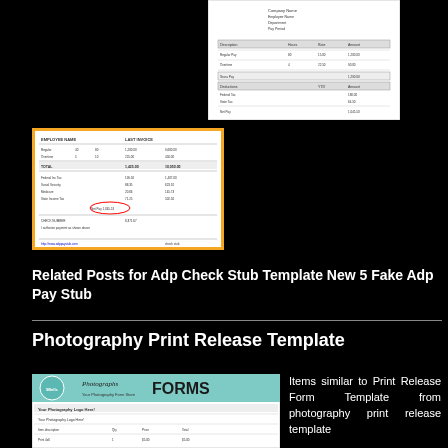[Figure (screenshot): Document/form thumbnail in top right area, white background with table/form content]
[Figure (screenshot): Document/form thumbnail in middle left with orange border, white background with tabular financial data]
Related Posts for Adp Check Stub Template New 5 Fake Adp Pay Stub
[Figure (screenshot): Photography Forms document thumbnail showing 'Photographs FORMS' header with form fields below]
Items similar to Print Release Form Template from photography print release template